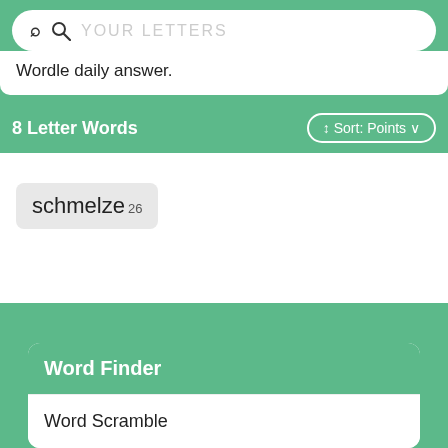YOUR LETTERS
Wordle daily answer.
8 Letter Words
schmelze 26
Word Finder
Word Scramble